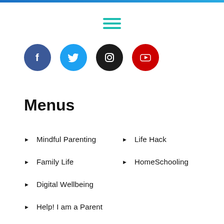[Figure (other): Hamburger menu icon with three teal horizontal lines]
[Figure (other): Social media icons: Facebook (blue circle), Twitter (light blue circle), Instagram (dark circle), YouTube (red circle)]
Menus
Mindful Parenting
Life Hack
Family Life
HomeSchooling
Digital Wellbeing
Help! I am a Parent
Activities for Kids